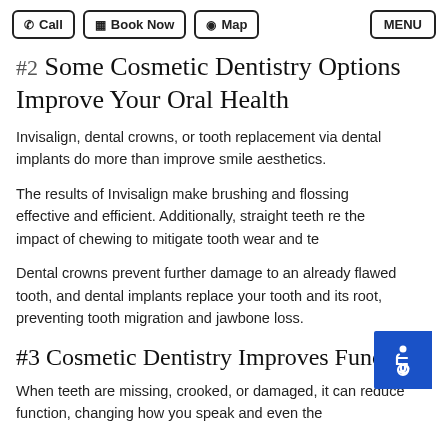Call | Book Now | Map | MENU
#2 Some Cosmetic Dentistry Options Improve Your Oral Health
Invisalign, dental crowns, or tooth replacement via dental implants do more than improve smile aesthetics.
The results of Invisalign make brushing and flossing effective and efficient. Additionally, straight teeth re the impact of chewing to mitigate tooth wear and te
Dental crowns prevent further damage to an already flawed tooth, and dental implants replace your tooth and its root, preventing tooth migration and jawbone loss.
#3 Cosmetic Dentistry Improves Function
When teeth are missing, crooked, or damaged, it can reduce function, changing how you speak and even the